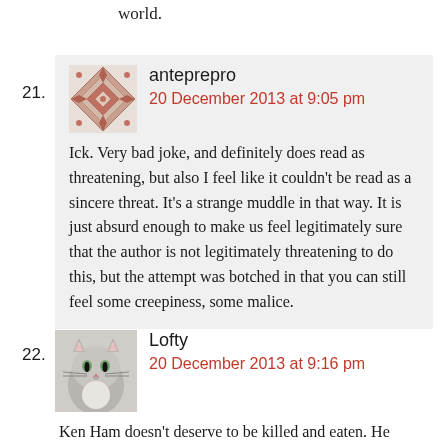world.
21. anteprepro
20 December 2013 at 9:05 pm
Ick. Very bad joke, and definitely does read as threatening, but also I feel like it couldn't be read as a sincere threat. It's a strange muddle in that way. It is just absurd enough to make us feel legitimately sure that the author is not legitimately threatening to do this, but the attempt was botched in that you can still feel some creepiness, some malice.
22. Lofty
20 December 2013 at 9:16 pm
Ken Ham doesn't deserve to be killed and eaten. He